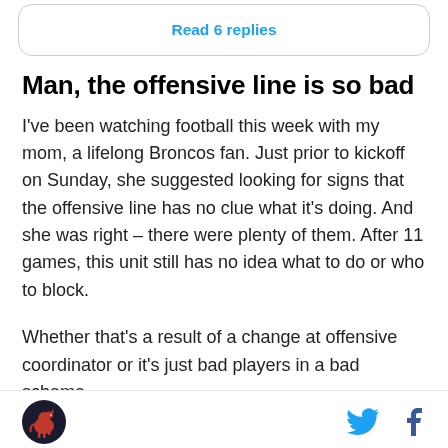Read 6 replies
Man, the offensive line is so bad
I've been watching football this week with my mom, a lifelong Broncos fan. Just prior to kickoff on Sunday, she suggested looking for signs that the offensive line has no clue what it's doing. And she was right – there were plenty of them. After 11 games, this unit still has no idea what to do or who to block.
Whether that's a result of a change at offensive coordinator or it's just bad players in a bad scheme,
Site logo | Twitter icon | Facebook icon